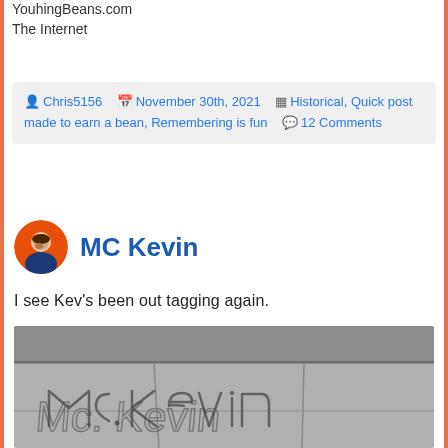YouhingBeans.com
The Internet
Chris5156  November 30th, 2021  Historical, Quick post made to earn a bean, Remembering is fun  12 Comments
MC Kevin
I see Kev's been out tagging again.
[Figure (photo): Photo of a stone wall with 'MC KEVIN' written in graffiti scratched into the stone surface.]